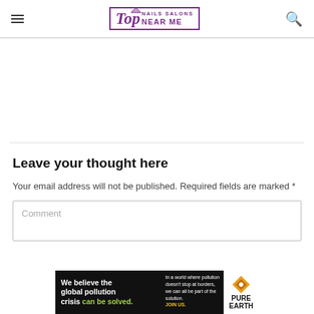Top Nails Salons Near Me
Leave your thought here
Your email address will not be published. Required fields are marked *
Comment
[Figure (logo): Pure Earth advertisement banner: 'We believe the global pollution crisis can be solved. In a world where pollution doesn't stop at borders, we can all be part of the solution. JOIN US.' with Pure Earth logo.]